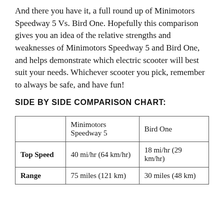And there you have it, a full round up of Minimotors Speedway 5 Vs. Bird One. Hopefully this comparison gives you an idea of the relative strengths and weaknesses of Minimotors Speedway 5 and Bird One, and helps demonstrate which electric scooter will best suit your needs. Whichever scooter you pick, remember to always be safe, and have fun!
SIDE BY SIDE COMPARISON CHART:
|  | Minimotors Speedway 5 | Bird One |
| --- | --- | --- |
| Top Speed | 40 mi/hr (64 km/hr) | 18 mi/hr (29 km/hr) |
| Range | 75 miles (121 km) | 30 miles (48 km) |